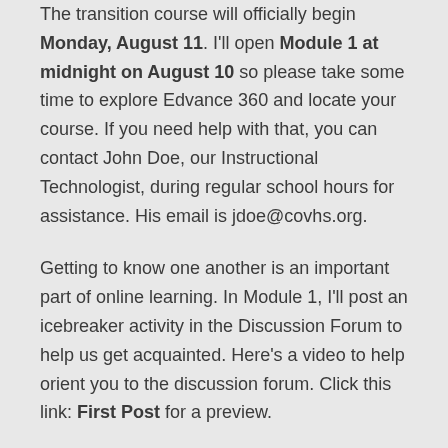The transition course will officially begin Monday, August 11.  I'll open Module 1 at midnight on August 10 so please take some time to explore Edvance 360 and locate your course.  If you need help with that, you can contact John Doe, our Instructional Technologist, during regular school hours for assistance.  His email is jdoe@covhs.org.
Getting to know one another is an important part of online learning.  In Module 1, I'll post an icebreaker activity in the Discussion Forum to help us get acquainted.  Here's a video to help orient you to the discussion forum.  Click this link:  First Post  for a preview.
Until next week!